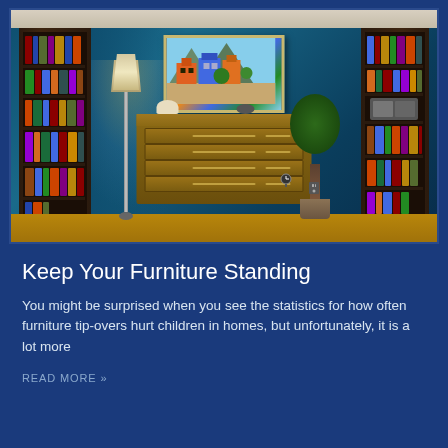[Figure (photo): Interior room scene with deep blue walls, two dark wooden bookcases on either side, a tall floor lamp, a wide brown dresser in the center, a colorful painting of European street houses on the wall, and a small manicured tree in a pot.]
Keep Your Furniture Standing
You might be surprised when you see the statistics for how often furniture tip-overs hurt children in homes, but unfortunately, it is a lot more
READ MORE »